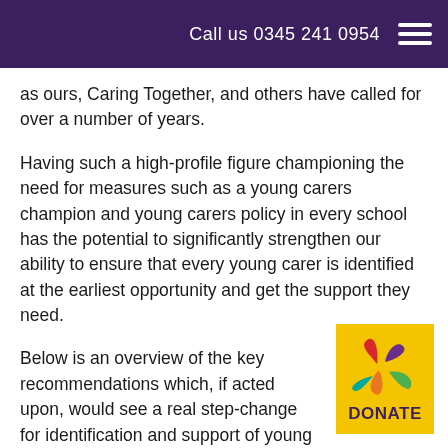Call us 0345 241 0954
as ours, Caring Together, and others have called for over a number of years.
Having such a high-profile figure championing the need for measures such as a young carers champion and young carers policy in every school has the potential to significantly strengthen our ability to ensure that every young carer is identified at the earliest opportunity and get the support they need.
Below is an overview of the key recommendations which, if acted upon, would see a real step-change for identification and support of young carers:
[Figure (logo): Yellow donate button with a colorful flower/windmill logo above the word DONATE in purple bold text on a yellow background]